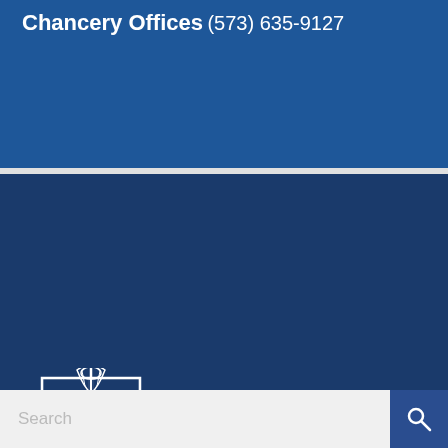Chancery Offices
(573) 635-9127
[Figure (logo): Diocese of Jefferson City crest/shield logo in white]
DIOCESE OF Jefferson City
573-735-4718 | 405 S. Main Street, Monroe City MO 63456
holyrosary.diojeffcity.org
[Figure (logo): Facebook icon in white]
Search